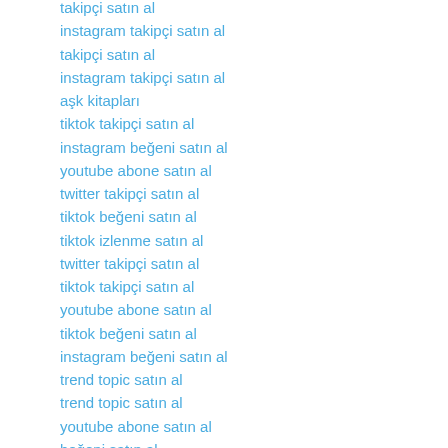takipçi satın al
instagram takipçi satın al
takipçi satın al
instagram takipçi satın al
aşk kitapları
tiktok takipçi satın al
instagram beğeni satın al
youtube abone satın al
twitter takipçi satın al
tiktok beğeni satın al
tiktok izlenme satın al
twitter takipçi satın al
tiktok takipçi satın al
youtube abone satın al
tiktok beğeni satın al
instagram beğeni satın al
trend topic satın al
trend topic satın al
youtube abone satın al
beğeni satın al
tiktok izlenme satın al
sms onay
youtube izlenme satın al